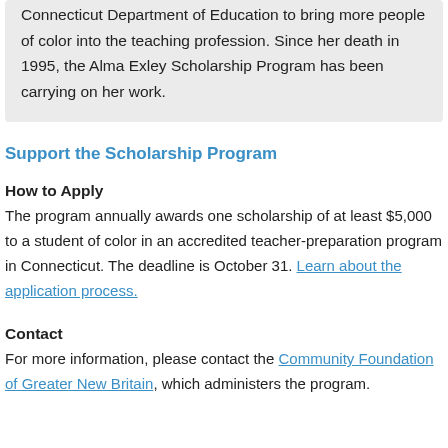Connecticut Department of Education to bring more people of color into the teaching profession. Since her death in 1995, the Alma Exley Scholarship Program has been carrying on her work.
Support the Scholarship Program
How to Apply
The program annually awards one scholarship of at least $5,000 to a student of color in an accredited teacher-preparation program in Connecticut. The deadline is October 31. Learn about the application process.
Contact
For more information, please contact the Community Foundation of Greater New Britain, which administers the program.